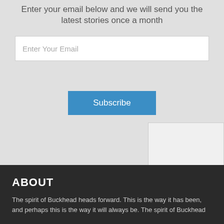Enter your email below and we will send you the latest stories once a month
Enter Your Email
Subscribe
ABOUT
The spirit of Buckhead heads forward. This is the way it has been, and perhaps this is the way it will always be. The spirit of Buckhead